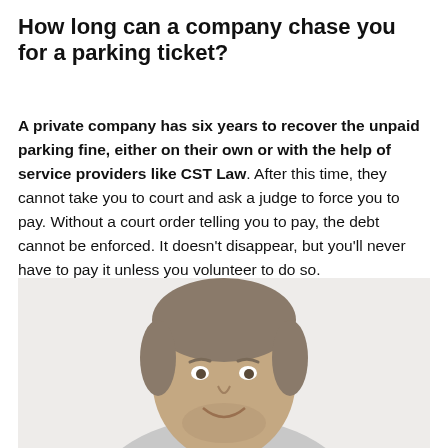How long can a company chase you for a parking ticket?
A private company has six years to recover the unpaid parking fine, either on their own or with the help of service providers like CST Law. After this time, they cannot take you to court and ask a judge to force you to pay. Without a court order telling you to pay, the debt cannot be enforced. It doesn't disappear, but you'll never have to pay it unless you volunteer to do so.
[Figure (photo): Headshot of a smiling man with short grey-brown hair and stubble beard, photographed against a light grey background.]